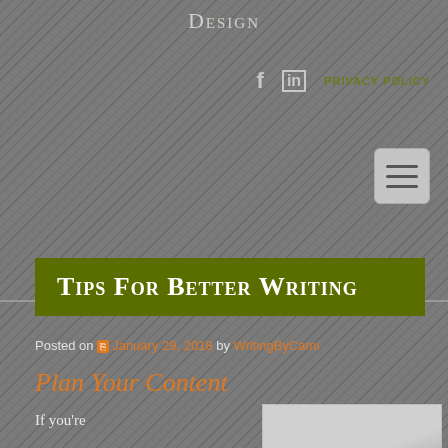Design
f  in  PRIVACY POLICY
Tips For Better Writing
Posted on January 29, 2018 by WritingByCami
Plan Your Content
If you're
[Figure (photo): Partial article image, light gray background, lower portion of page]